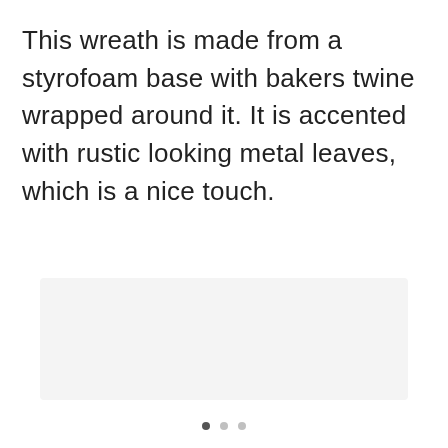This wreath is made from a styrofoam base with bakers twine wrapped around it. It is accented with rustic looking metal leaves, which is a nice touch.
[Figure (photo): Image placeholder area with light gray background]